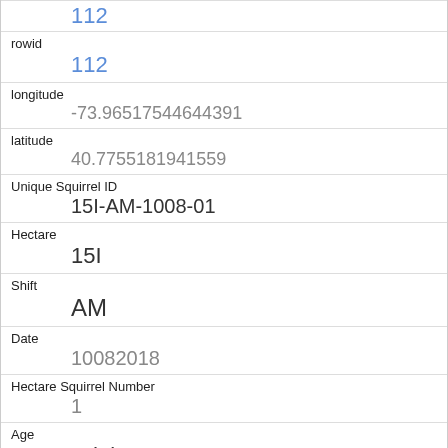| Field | Value |
| --- | --- |
| rowid | 112 |
| longitude | -73.96517544644391 |
| latitude | 40.7755181941559 |
| Unique Squirrel ID | 15I-AM-1008-01 |
| Hectare | 15I |
| Shift | AM |
| Date | 10082018 |
| Hectare Squirrel Number | 1 |
| Age | Adult |
| Primary Fur Color | Gray |